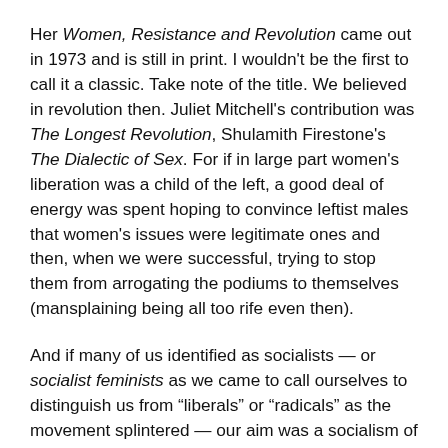Her Women, Resistance and Revolution came out in 1973 and is still in print. I wouldn't be the first to call it a classic. Take note of the title. We believed in revolution then. Juliet Mitchell's contribution was The Longest Revolution, Shulamith Firestone's The Dialectic of Sex. For if in large part women's liberation was a child of the left, a good deal of energy was spent hoping to convince leftist males that women's issues were legitimate ones and then, when we were successful, trying to stop them from arrogating the podiums to themselves (mansplaining being all too rife even then).
And if many of us identified as socialists — or socialist feminists as we came to call ourselves to distinguish us from “liberals” or “radicals” as the movement splintered — our aim was a socialism of an especially humane kind. On the whole we resisted dogma and championed underdogs, whether they were working-class or racial or sexual minorities or, counting us, any combination of the three. Intersectionality is what it's called today.